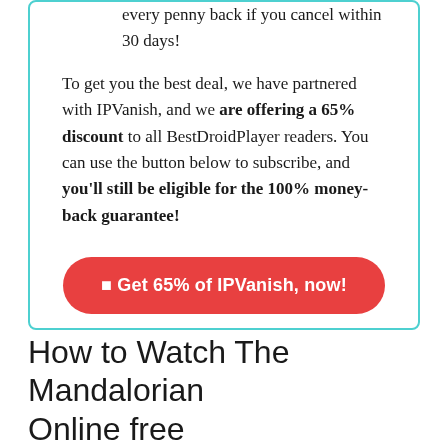you do not like the service, you can get every penny back if you cancel within 30 days!
To get you the best deal, we have partnered with IPVanish, and we are offering a 65% discount to all BestDroidPlayer readers. You can use the button below to subscribe, and you'll still be eligible for the 100% money-back guarantee!
[Figure (other): Red rounded button with white text: Get 65% of IPVanish, now!]
How to Watch The Mandalorian Online free